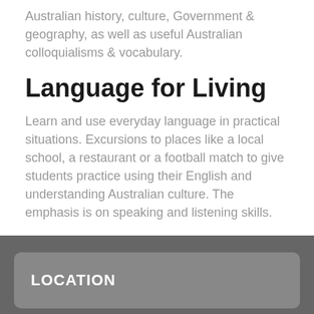Australian history, culture, Government & geography, as well as useful Australian colloquialisms & vocabulary.
Language for Living
Learn and use everyday language in practical situations. Excursions to places like a local school, a restaurant or a football match to give students practice using their English and understanding Australian culture. The emphasis is on speaking and listening skills.
LOCATION